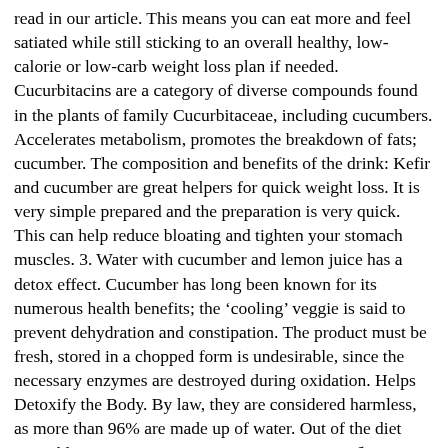read in our article. This means you can eat more and feel satiated while still sticking to an overall healthy, low-calorie or low-carb weight loss plan if needed. Cucurbitacins are a category of diverse compounds found in the plants of family Cucurbitaceae, including cucumbers. Accelerates metabolism, promotes the breakdown of fats; cucumber. The composition and benefits of the drink: Kefir and cucumber are great helpers for quick weight loss. It is very simple prepared and the preparation is very quick. This can help reduce bloating and tighten your stomach muscles. 3. Water with cucumber and lemon juice has a detox effect. Cucumber has long been known for its numerous health benefits; the 'cooling' veggie is said to prevent dehydration and constipation. The product must be fresh, stored in a chopped form is undesirable, since the necessary enzymes are destroyed during oxidation. Helps Detoxify the Body. By law, they are considered harmless, as more than 96% are made up of water. Out of the diet smoothly. Как да готвя пълнени патладжани в банките за зимата, "كيف لطهي صلصة "الصلصا", في الخيارات الكلاسيكية وغيرها, Wie man selbst gemachte Chips in der Mikrowelle kocht, Sestavování menu pro narozeniny: recepty a tipy, Káva se zmrzlinou – jak se jmenuje lahodný "tandem", Какво можете да приготвите вкусни и питателни тиквички, Cottage cheese filling for pancakes: recipes to choose from, سلطة الكلاسيكية اليونانية وصفة: التاريخ والطبخ ، والاختلافات, كيف لطهي borssaks الكازاخستاني الحقيقي في المنزل, Chléb v peci doma: recepty a technika pečení, Wie schnell und lecker kochen Huhn in